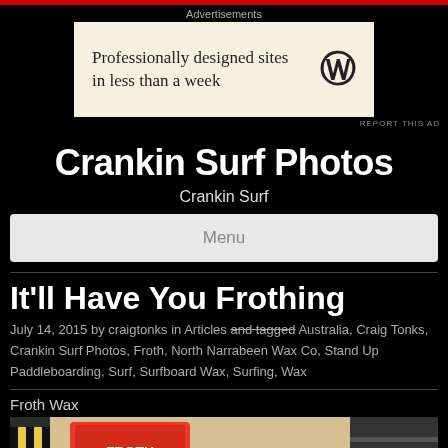Advertisements
[Figure (other): Advertisement banner: 'Professionally designed sites in less than a week' with WordPress logo]
REPORT THIS AD
Crankin Surf Photos
Crankin Surf
Menu
It'll Have You Frothing
July 14, 2015 by craigtonks in Articles and tagged Australia, Craig Tonks, Crankin Surf Photos, Froth, North Narrabeen Wax Co, Stand Up Paddleboarding, Surf, Surfboard Wax, Surfing, Wax
Froth Wax
[Figure (photo): Photo of surfboard wax products on a surfboard with colourful stripes]